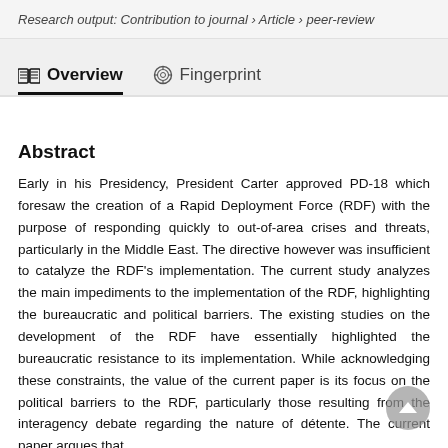Research output: Contribution to journal › Article › peer-review
Overview   Fingerprint
Abstract
Early in his Presidency, President Carter approved PD-18 which foresaw the creation of a Rapid Deployment Force (RDF) with the purpose of responding quickly to out-of-area crises and threats, particularly in the Middle East. The directive however was insufficient to catalyze the RDF's implementation. The current study analyzes the main impediments to the implementation of the RDF, highlighting the bureaucratic and political barriers. The existing studies on the development of the RDF have essentially highlighted the bureaucratic resistance to its implementation. While acknowledging these constraints, the value of the current paper is its focus on the political barriers to the RDF, particularly those resulting from the interagency debate regarding the nature of détente. The current paper argues that